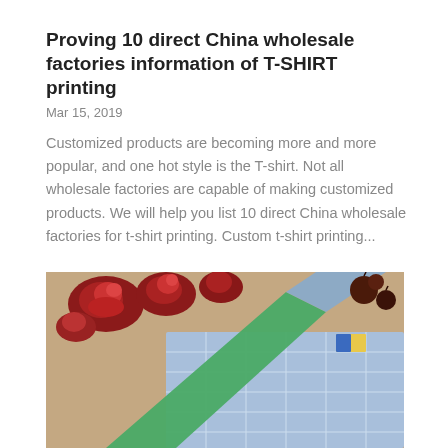Proving 10 direct China wholesale factories information of T-SHIRT printing
Mar 15, 2019
Customized products are becoming more and more popular, and one hot style is the T-shirt. Not all wholesale factories are capable of making customized products. We will help you list 10 direct China wholesale factories for t-shirt printing. Custom t-shirt printing...
[Figure (photo): Close-up photo of a blue grid-patterned fabric or calendar with a green and silver pen resting on top, and red roses and small dark fruits in the background on a tan surface.]